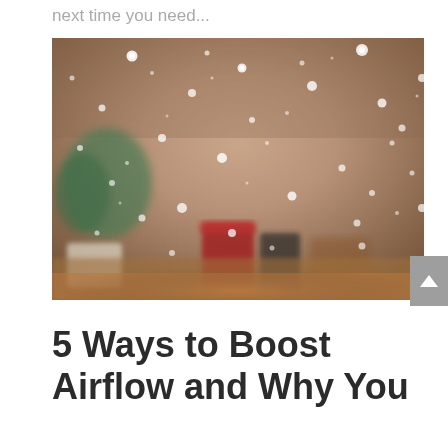next time you need...
[Figure (photo): A blurry photo of snowflakes or raindrops falling in front of a window, with a warm indoor scene visible in the background including green plants and red objects on a wooden surface.]
5 Ways to Boost Airflow and Why You